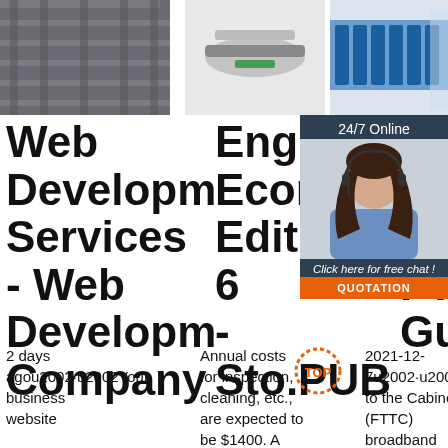[Figure (photo): Photo of metal shelving or structural steel components]
[Figure (photo): Industrial machinery or production line equipment]
[Figure (photo): Industrial blue machinery/mill equipment]
[Figure (infographic): 24/7 Online chat widget with woman wearing headset, orange QUOTATION button]
Web Development Services - Web Development Company
Engineering Economy Edition 6 - Sto.PUB
Fid Bro (FT FT Gu
2 days agou2002·u2002Your business website
Annual costs for inspection, cleaning, etc., are expected to be $1400. A
2021-12-7u2002·u2002Fibre to the Cabinet (FTTC) broadband